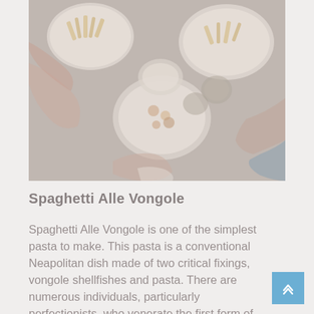[Figure (photo): Overhead/top-down view of people sharing pasta dishes and food at a table, with plates of pasta, drinks, and hands reaching across the table. The image has a washed-out, faded appearance.]
Spaghetti Alle Vongole
Spaghetti Alle Vongole is one of the simplest pasta to make. This pasta is a conventional Neapolitan dish made of two critical fixings, vongole shellfishes and pasta. There are numerous individuals, particularly perfectionists, who venerate the first form of spaghetti alle